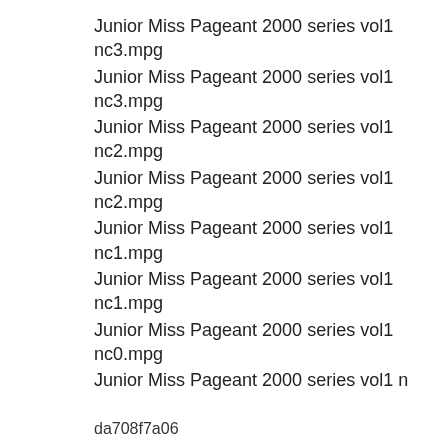Junior Miss Pageant 2000 series vol1 nc3.mpg
Junior Miss Pageant 2000 series vol1 nc3.mpg
Junior Miss Pageant 2000 series vol1 nc2.mpg
Junior Miss Pageant 2000 series vol1 nc2.mpg
Junior Miss Pageant 2000 series vol1 nc1.mpg
Junior Miss Pageant 2000 series vol1 nc1.mpg
Junior Miss Pageant 2000 series vol1 nc0.mpg
Junior Miss Pageant 2000 series vol1 n
da708f7a06